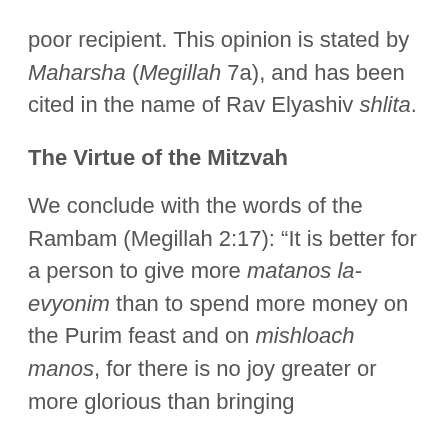poor recipient. This opinion is stated by Maharsha (Megillah 7a), and has been cited in the name of Rav Elyashiv shlita.
The Virtue of the Mitzvah
We conclude with the words of the Rambam (Megillah 2:17): “It is better for a person to give more matanos la-evyonim than to spend more money on the Purim feast and on mishloach manos, for there is no joy greater or more glorious than bringing